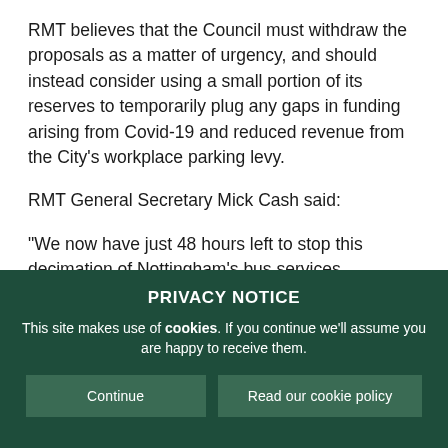RMT believes that the Council must withdraw the proposals as a matter of urgency, and should instead consider using a small portion of its reserves to temporarily plug any gaps in funding arising from Covid-19 and reduced revenue from the City's workplace parking levy.
RMT General Secretary Mick Cash said:
“We now have just 48 hours left to stop this decimation of Nottingham’s bus services.
PRIVACY NOTICE
This site makes use of cookies. If you continue we'll assume you are happy to receive them.
Continue | Read our cookie policy